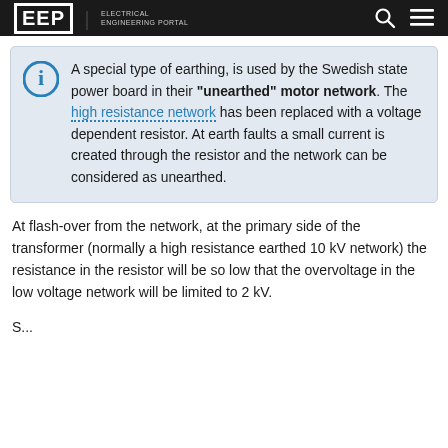EEP | ELECTRICAL ENGINEERING PORTAL
A special type of earthing, is used by the Swedish state power board in their "unearthed" motor network. The high resistance network has been replaced with a voltage dependent resistor. At earth faults a small current is created through the resistor and the network can be considered as unearthed.
At flash-over from the network, at the primary side of the transformer (normally a high resistance earthed 10 kV network) the resistance in the resistor will be so low that the overvoltage in the low voltage network will be limited to 2 kV.
S...